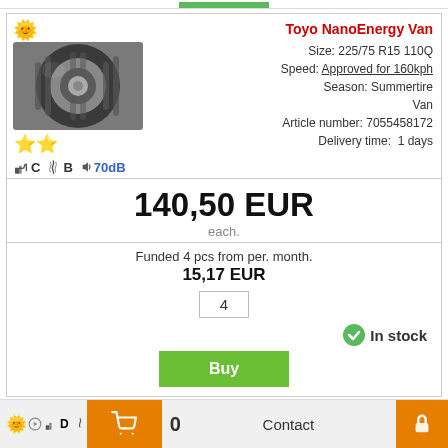[Figure (photo): Toyo NanoEnergy Van tire product image with sun and star rating icons]
C  B  70dB
Toyo NanoEnergy Van
Size: 225/75 R15 110Q
Speed: Approved for 160kph
Season: Summertire Van
Article number: 7055458172
Delivery time: 1 days
140,50 EUR
each.
Funded 4 pcs from per. month.
15,17 EUR
4
In stock
Buy
D
0
Contact